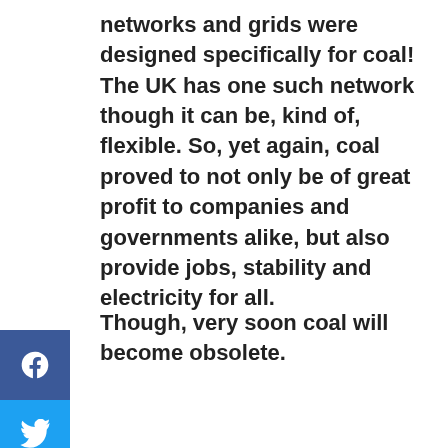networks and grids were designed specifically for coal! The UK has one such network though it can be, kind of, flexible. So, yet again, coal proved to not only be of great profit to companies and governments alike, but also provide jobs, stability and electricity for all.
Though, very soon coal will become obsolete.
[Figure (other): Social media sharing sidebar with Facebook, Twitter, LinkedIn, and Email buttons]
ookies
We use cookies on our website to give you the most relevant experience by remembering your preferences, repeat visits and are used for personalised Google advertising. Here is a link to our Privacy Policy. By clicking "Accept All", you consent to the use of ALL the cookies. However, you may visit 'Cookie Settings' to provide a controlled consent.